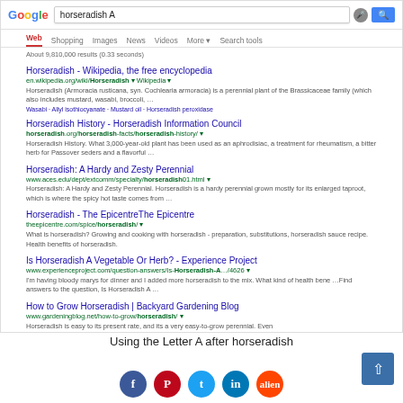[Figure (screenshot): Google search results page for query 'horseradish A' showing 6 search results including Wikipedia, Horseradish Information Council, aces.edu, The Epicentre, Experience Project, and Backyard Gardening Blog]
Using the Letter A after horseradish
[Figure (other): Back to top button (blue arrow up)]
[Figure (other): Social sharing icons: Facebook, Pinterest, Twitter, LinkedIn, Reddit]